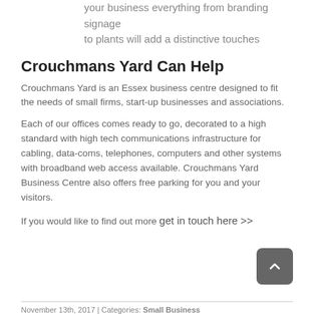your business everything from branding signage to plants will add a distinctive touches
Crouchmans Yard Can Help
Crouchmans Yard is an Essex business centre designed to fit the needs of small firms, start-up businesses and associations.
Each of our offices comes ready to go, decorated to a high standard with high tech communications infrastructure for cabling, data-coms, telephones, computers and other systems with broadband web access available. Crouchmans Yard Business Centre also offers free parking for you and your visitors.
If you would like to find out more get in touch here >>
November 13th, 2017 | Categories: Small Business